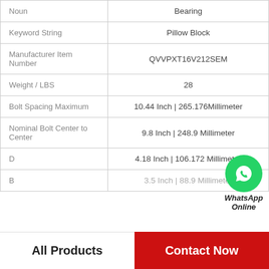| Attribute | Value |
| --- | --- |
| Noun | Bearing |
| Keyword String | Pillow Block |
| Manufacturer Item Number | QVVPXT16V212SEM |
| Weight / LBS | 28 |
| Bolt Spacing Maximum | 10.44 Inch | 265.176Millimeter |
| Nominal Bolt Center to Center | 9.8 Inch | 248.9 Millimeter |
| D | 4.18 Inch | 106.172 Millimeter |
| B | 3.5 Inch | 88.9 Millimeter |
WhatsApp Online
All Products   Contact Now